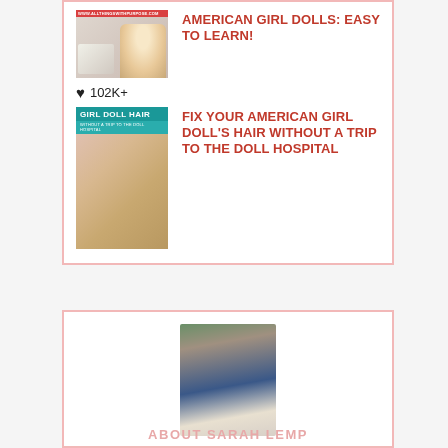[Figure (photo): Thumbnail image for American Girl Dolls article with doll face and pink banner]
AMERICAN GIRL DOLLS: EASY TO LEARN!
❤ 102K+
[Figure (photo): Girl Doll Hair book cover/thumbnail with teal header and photo of doll hair]
FIX YOUR AMERICAN GIRL DOLL'S HAIR WITHOUT A TRIP TO THE DOLL HOSPITAL
[Figure (photo): Portrait photo of smiling woman with curly brown hair, presumably Sarah Lemp]
ABOUT SARAH LEMP